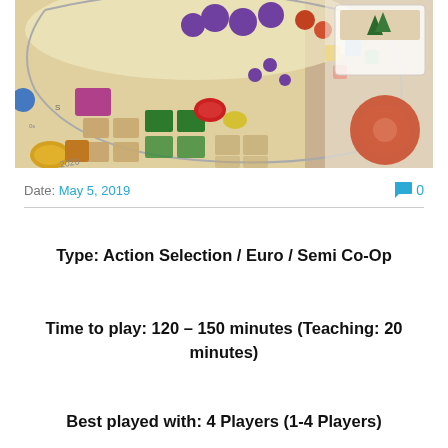[Figure (photo): Overhead photo of a board game in progress, showing colorful board with tokens, cards, and player pieces on a table]
Date: May 5, 2019
💬 0
Type: Action Selection / Euro / Semi Co-Op
Time to play: 120 – 150 minutes (Teaching: 20 minutes)
Best played with: 4 Players (1-4 Players)